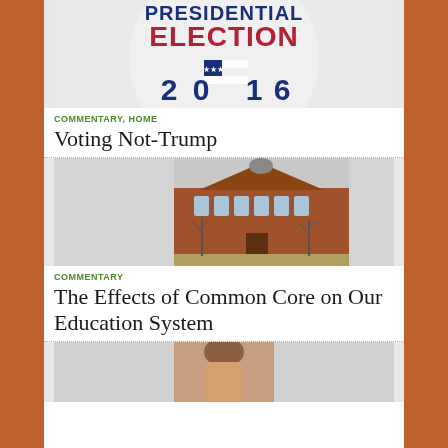[Figure (photo): Presidential Election 2016 badge/button with American flag design, white background]
COMMENTARY, HOME
Voting Not-Trump
[Figure (photo): Brick school building exterior with trees, gray sky]
COMMENTARY
The Effects of Common Core on Our Education System
[Figure (photo): Partial view of a person, cropped at bottom of page]